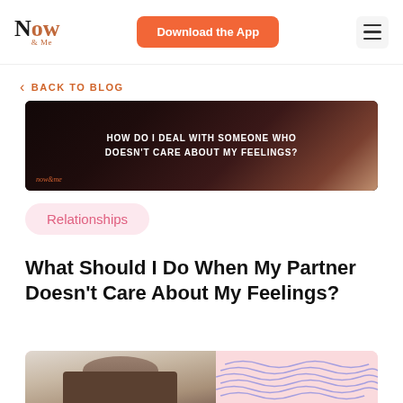Now & Me — Download the App
[Figure (photo): Now and Me website header with logo, Download the App button, and hamburger menu]
< BACK TO BLOG
[Figure (photo): Dark banner image with text 'HOW DO I DEAL WITH SOMEONE WHO DOESN'T CARE ABOUT MY FEELINGS?' and now&me logo]
Relationships
What Should I Do When My Partner Doesn't Care About My Feelings?
[Figure (photo): Pink background image showing a person with head in hands at a desk, and a woman's face with decorative wavy purple lines illustration]